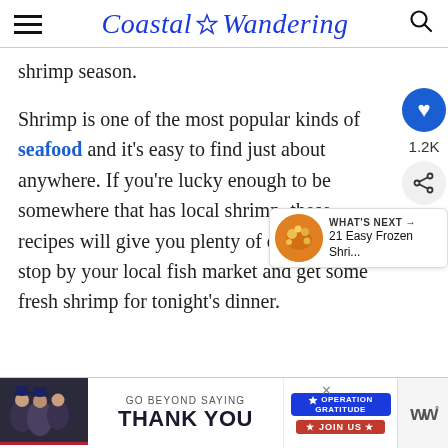Coastal Wandering
shrimp season.
Shrimp is one of the most popular kinds of seafood and it's easy to find just about anywhere. If you're lucky enough to be somewhere that has local shrimp, these recipes will give you plenty of options. Just stop by your local fish market and get some fresh shrimp for tonight's dinner.
[Figure (screenshot): Advertisement banner: GO BEYOND SAYING THANK YOU – Operation Gratitude JOIN US, with military photo and logo]
[Figure (screenshot): Social sidebar with heart icon showing 1.2K likes and share button]
[Figure (screenshot): WHAT'S NEXT panel: 21 Easy Frozen Shri... with food thumbnail]